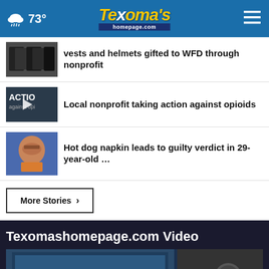Texoma's homepage.com — 73°
vests and helmets gifted to WFD through nonprofit
Local nonprofit taking action against opioids
Hot dog napkin leads to guilty verdict in 29-year-old …
More Stories ▸
Texomashomepage.com Video